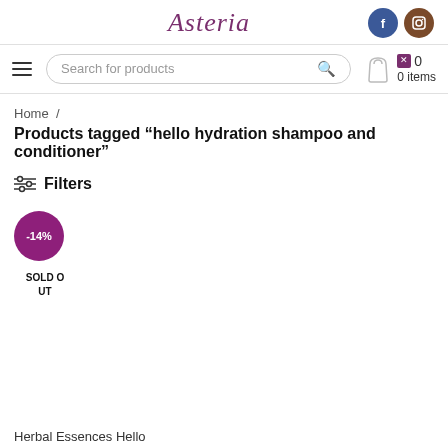[Figure (logo): Asteria brand logo in purple italic script font]
[Figure (infographic): Social media icons: Facebook (blue circle with f) and Instagram (brown circle with camera icon)]
[Figure (infographic): Navigation bar with hamburger menu, search bar labeled 'Search for products', cart bag icon, and '0 items' counter]
Home /
Products tagged “hello hydration shampoo and conditioner”
Filters
[Figure (infographic): Product card with -14% purple discount badge and SOLD OUT label]
Herbal Essences Hello